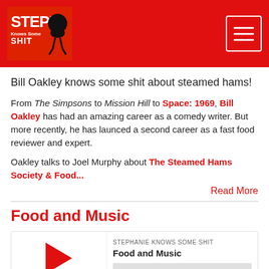[Figure (logo): Stephanie Knows Some Shit podcast logo with figure]
Bill Oakley knows some shit about steamed hams!
From The Simpsons to Mission Hill to Space: 1969, Bill Oakley has had an amazing career as a comedy writer. But more recently, he has launced a second career as a fast food reviewer and expert.
Oakley talks to Joel Murphy about The Steamed Hams Society & Food...
Read More
Food and Music
[Figure (screenshot): Podcast player widget showing STEPHANIE KNOWS SOME SHIT / Food and Music with play button and progress bar]
00:00:00